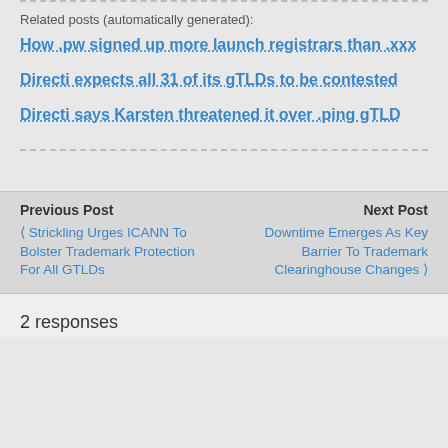Related posts (automatically generated):
How .pw signed up more launch registrars than .xxx
Directi expects all 31 of its gTLDs to be contested
Directi says Karsten threatened it over .ping gTLD
Previous Post
‹ Strickling Urges ICANN To Bolster Trademark Protection For All GTLDs
Next Post
Downtime Emerges As Key Barrier To Trademark Clearinghouse Changes ›
2 responses